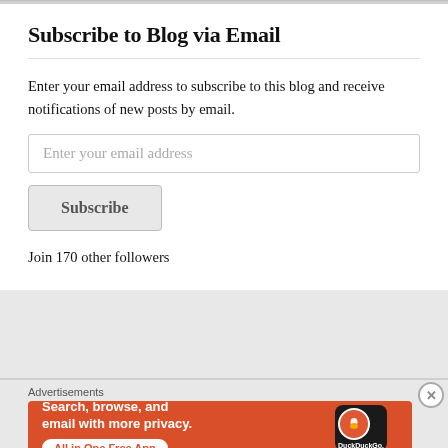Subscribe to Blog via Email
Enter your email address to subscribe to this blog and receive notifications of new posts by email.
Enter your email address
Subscribe
Join 170 other followers
Advertisements
[Figure (illustration): DuckDuckGo advertisement banner on orange background. Text: Search, browse, and email with more privacy. All in One Free App. Shows a DuckDuckGo logo on a smartphone mockup.]